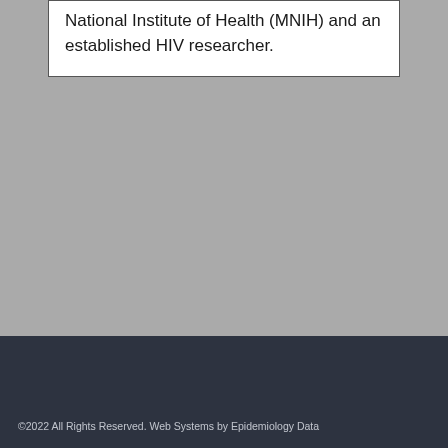National Institute of Health (MNIH) and an established HIV researcher.
©2022 All Rights Reserved. Web Systems by Epidemiology Data